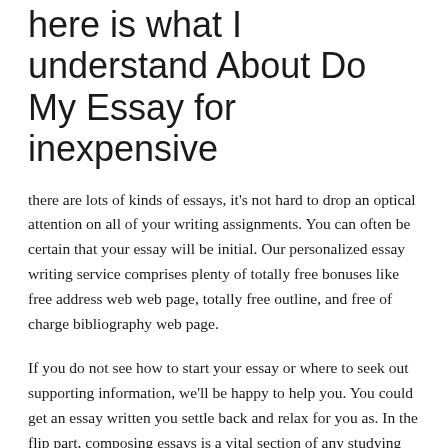here is what I understand About Do My Essay for inexpensive
there are lots of kinds of essays, it's not hard to drop an optical attention on all of your writing assignments. You can often be certain that your essay will be initial. Our personalized essay writing service comprises plenty of totally free bonuses like free address web web page, totally free outline, and free of charge bibliography web page.
If you do not see how to start your essay or where to seek out supporting information, we'll be happy to help you. You could get an essay written you settle back and relax for you as. In the flip part, composing essays is a vital section of any studying procedure. Composing college dissertation writing services essays for cash is not issue for people! Should you'd rather produce the heroism description essay, you will not understand precisely essay composing web